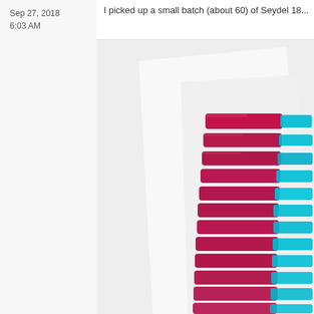Sep 27, 2018
6:03 AM
I picked up a small batch (about 60) of Seydel 18...
[Figure (photo): Stack of red/magenta and cyan harmonica covers or similar plastic components arranged in rows, photographed against a white background on what appears to be a white surface or paper.]